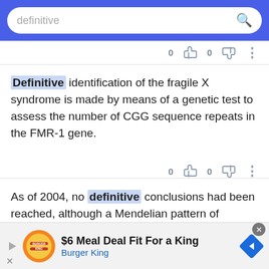definitive [search bar]
0  0  :
Definitive identification of the fragile X syndrome is made by means of a genetic test to assess the number of CGG sequence repeats in the FMR-1 gene.
0  0  :
As of 2004, no definitive conclusions had been reached, although a Mendelian pattern of inheritance is suspected.
0  0  :
$6 Meal Deal Fit For a King - Burger King